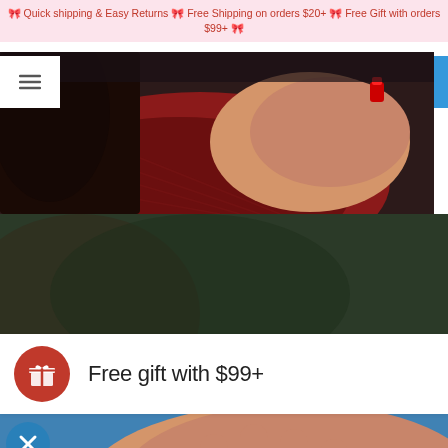🎀 Quick shipping & Easy Returns 🎀 Free Shipping on orders $20+ 🎀 Free Gift with orders $99+ 🎀
[Figure (photo): Close-up of a woman wearing a red turtleneck sweater with a decorative ring visible on her hand, with a menu hamburger icon overlay in top-left]
[Figure (photo): Blurred dark green/brown background photo, partially visible person]
Free gift with $99+
[Figure (photo): Close-up of a hand wearing a decorative ring with red and blue gemstones, blue background, with a close (X) button in the lower left]